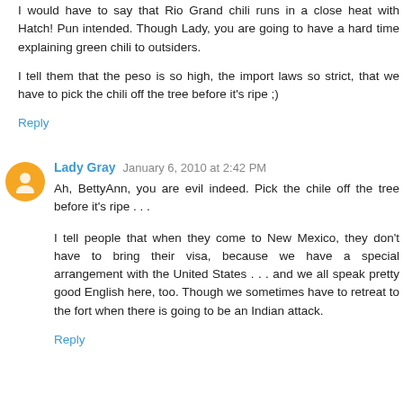I would have to say that Rio Grand chili runs in a close heat with Hatch! Pun intended. Though Lady, you are going to have a hard time explaining green chili to outsiders.
I tell them that the peso is so high, the import laws so strict, that we have to pick the chili off the tree before it's ripe ;)
Reply
Lady Gray  January 6, 2010 at 2:42 PM
Ah, BettyAnn, you are evil indeed. Pick the chile off the tree before it's ripe . . .
I tell people that when they come to New Mexico, they don't have to bring their visa, because we have a special arrangement with the United States . . . and we all speak pretty good English here, too. Though we sometimes have to retreat to the fort when there is going to be an Indian attack.
Reply